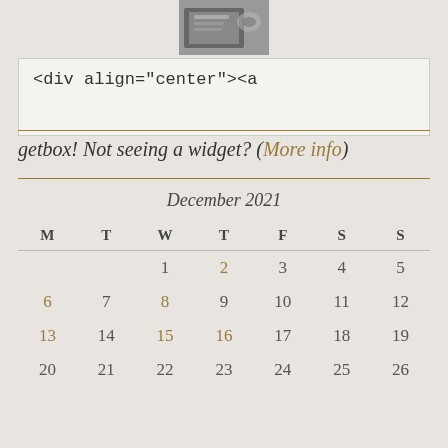[Figure (photo): Small black and white photo of books/notebook at top center]
<div align="center"><a
hreffollowwithlinkanchor
getbox! Not seeing a widget? (More info)
| M | T | W | T | F | S | S |
| --- | --- | --- | --- | --- | --- | --- |
|  |  | 1 | 2 | 3 | 4 | 5 |
| 6 | 7 | 8 | 9 | 10 | 11 | 12 |
| 13 | 14 | 15 | 16 | 17 | 18 | 19 |
| 20 | 21 | 22 | 23 | 24 | 25 | 26 |